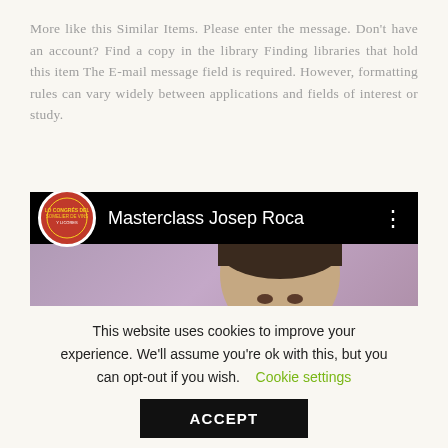More like this Similar Items. Please enter the message. Don't have an account? Find a copy in the library Finding libraries that hold this item The E-mail message field is required. However, formatting rules can vary widely between applications and fields of interest or study.
[Figure (screenshot): YouTube-style video thumbnail showing 'Masterclass Josep Roca' with a logo circle on the left, title text, and a video frame showing a person's face against a purple background]
This website uses cookies to improve your experience. We'll assume you're ok with this, but you can opt-out if you wish. Cookie settings ACCEPT